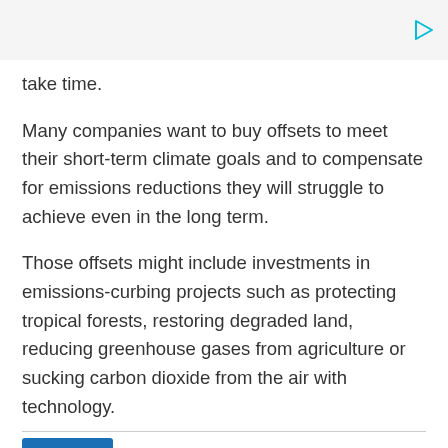take time.
Many companies want to buy offsets to meet their short-term climate goals and to compensate for emissions reductions they will struggle to achieve even in the long term.
Those offsets might include investments in emissions-curbing projects such as protecting tropical forests, restoring degraded land, reducing greenhouse gases from agriculture or sucking carbon dioxide from the air with technology.
Advertisement · Scroll to continue